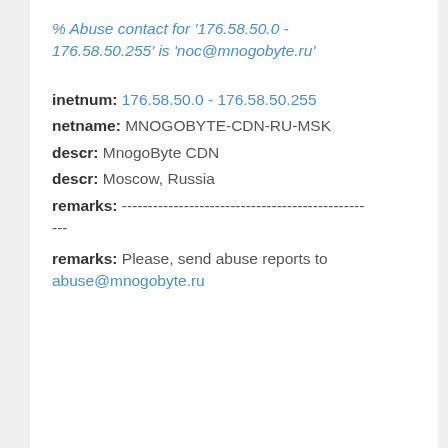% Abuse contact for '176.58.50.0 - 176.58.50.255' is 'noc@mnogobyte.ru'
inetnum: 176.58.50.0 - 176.58.50.255
netname: MNOGOBYTE-CDN-RU-MSK
descr: MnogoByte CDN
descr: Moscow, Russia
remarks: ---------------------------------------------------
remarks: Please, send abuse reports to abuse@mnogobyte.ru